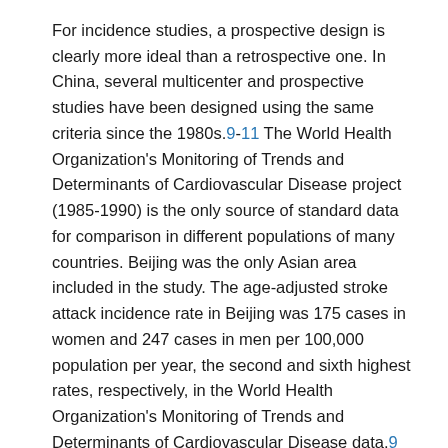For incidence studies, a prospective design is clearly more ideal than a retrospective one. In China, several multicenter and prospective studies have been designed using the same criteria since the 1980s.9-11 The World Health Organization's Monitoring of Trends and Determinants of Cardiovascular Disease project (1985-1990) is the only source of standard data for comparison in different populations of many countries. Beijing was the only Asian area included in the study. The age-adjusted stroke attack incidence rate in Beijing was 175 cases in women and 247 cases in men per 100,000 population per year, the second and sixth highest rates, respectively, in the World Health Organization's Monitoring of Trends and Determinants of Cardiovascular Disease data.9 Another 2 prospective studies indicated that the stroke incidence in their respective monitoring groups varied from 165.4 to 212.2 cases in women and from 182.1 to 314 cases in men per 100,000 population per year.10,11 These 2 studies were